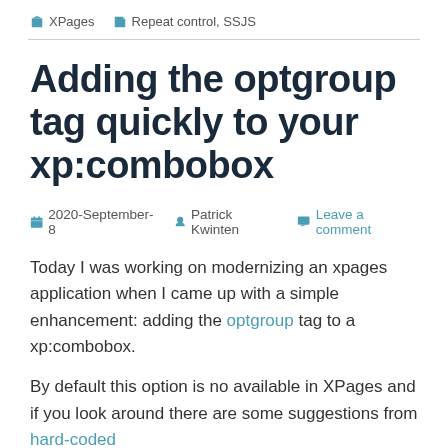XPages   Repeat control, SSJS
Adding the optgroup tag quickly to your xp:combobox
2020-September-8   Patrick Kwinten   Leave a comment
Today I was working on modernizing an xpages application when I came up with a simple enhancement: adding the optgroup tag to a xp:combobox.
By default this option is no available in XPages and if you look around there are some suggestions from hard-coded